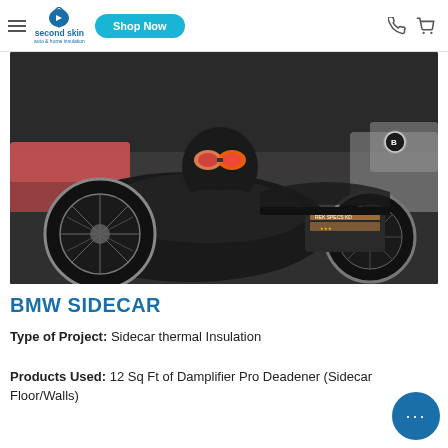second skin auto & home insulation — Shop Now
[Figure (photo): A dog wearing goggles and a leather jacket sitting in a BMW sidecar motorcycle. The sidecar has stickers on it including 'REK SPECS KD'. Multiple vehicles are visible in the background parking lot.]
BMW SIDECAR
Type of Project: Sidecar thermal Insulation
Products Used: 12 Sq Ft of Damplifier Pro Deadener (Sidecar Floor/Walls)